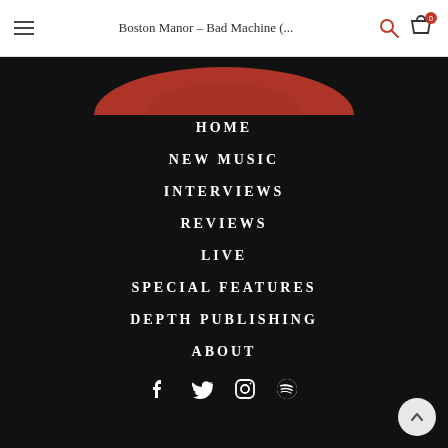Boston Manor – Bad Machine (...
[Figure (illustration): Red swoosh/logo partially visible at top of dark section]
HOME
NEW MUSIC
INTERVIEWS
REVIEWS
LIVE
SPECIAL FEATURES
DEPTH PUBLISHING
ABOUT
[Figure (other): Social media icons: Facebook, Twitter, Instagram, Spotify]